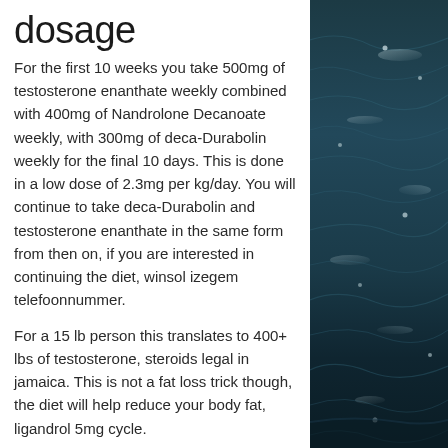dosage
For the first 10 weeks you take 500mg of testosterone enanthate weekly combined with 400mg of Nandrolone Decanoate weekly, with 300mg of deca-Durabolin weekly for the final 10 days. This is done in a low dose of 2.3mg per kg/day. You will continue to take deca-Durabolin and testosterone enanthate in the same form from then on, if you are interested in continuing the diet, winsol izegem telefoonnummer.
For a 15 lb person this translates to 400+ lbs of testosterone, steroids legal in jamaica. This is not a fat loss trick though, the diet will help reduce your body fat, ligandrol 5mg cycle.
Here is what the diet entails
[Figure (photo): Ocean water surface with dark teal/blue tones and light reflections on waves, taken from above]